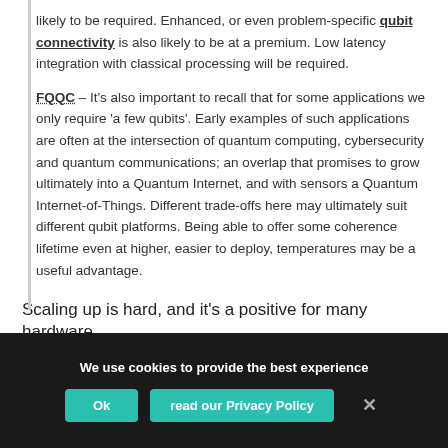likely to be required. Enhanced, or even problem-specific qubit connectivity is also likely to be at a premium. Low latency integration with classical processing will be required.
FQQC – It's also important to recall that for some applications we only require 'a few qubits'. Early examples of such applications are often at the intersection of quantum computing, cybersecurity and quantum communications; an overlap that promises to grow ultimately into a Quantum Internet, and with sensors a Quantum Internet-of-Things. Different trade-offs here may ultimately suit different qubit platforms. Being able to offer some coherence lifetime even at higher, easier to deploy, temperatures may be a useful advantage.
Scaling up is hard, and it's a positive for many hardware
We use cookies to provide the best experience